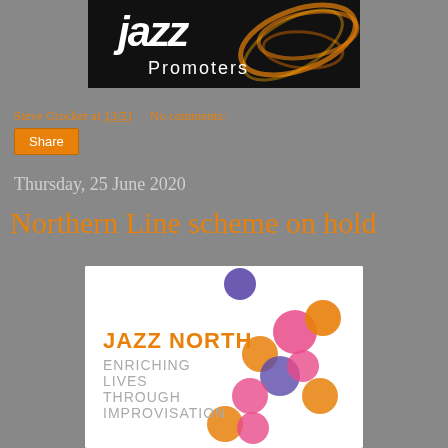[Figure (logo): Jazz Promoters logo — white stylized 'jazz' lettering with orange swirl on black background, 'Promoters' text below]
Steve Crocker at 13:51    No comments:
Share
Thursday, 25 June 2020
Northern Line scheme on hold
[Figure (logo): Jazz North logo on white background — orange bold 'JAZZ NORTH' text, grey 'ENRICHING LIVES THROUGH IMPROVISATION' stacked text, decorative overlapping circles in pink, orange, purple colours]